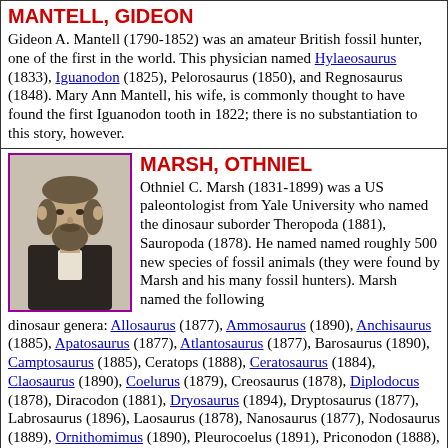MANTELL, GIDEON
Gideon A. Mantell (1790-1852) was an amateur British fossil hunter, one of the first in the world. This physician named Hylaeosaurus (1833), Iguanodon (1825), Pelorosaurus (1850), and Regnosaurus (1848). Mary Ann Mantell, his wife, is commonly thought to have found the first Iguanodon tooth in 1822; there is no substantiation to this story, however.
MARSH, OTHNIEL
[Figure (photo): Black and white portrait photograph of Othniel C. Marsh, a bearded man in 19th century attire]
Othniel C. Marsh (1831-1899) was a US paleontologist from Yale University who named the dinosaur suborder Theropoda (1881), Sauropoda (1878). He named named roughly 500 new species of fossil animals (they were found by Marsh and his many fossil hunters). Marsh named the following dinosaur genera: Allosaurus (1877), Ammosaurus (1890), Anchisaurus (1885), Apatosaurus (1877), Atlantosaurus (1877), Barosaurus (1890), Camptosaurus (1885), Ceratops (1888), Ceratosaurus (1884), Claosaurus (1890), Coelurus (1879), Creosaurus (1878), Diplodocus (1878), Diracodon (1881), Dryosaurus (1894), Dryptosaurus (1877), Labrosaurus (1896), Laosaurus (1878), Nanosaurus (1877), Nodosaurus (1889), Ornithomimus (1890), Pleurocoelus (1891), Priconodon (1888), Stegosaurus (1877), Torosaurus (1891), Triceratops (1889), Tripriodon (1889). He named the suborders Ceratopsia (1890),